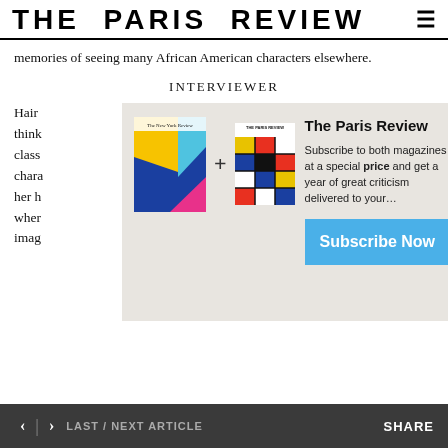THE PARIS REVIEW
memories of seeing many African American characters elsewhere.
INTERVIEWER
Hair think class chara her h wher imag
[Figure (screenshot): Subscription overlay showing The New York Review + The Paris Review magazine covers with a 'Subscribe Now' button and promotional text.]
< | > LAST / NEXT ARTICLE    SHARE